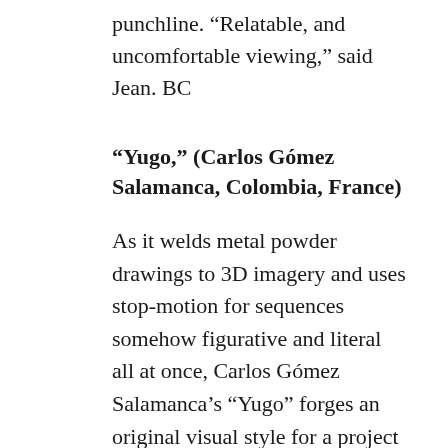punchline. “Relatable, and uncomfortable viewing,” said Jean. BC
“Yugo,” (Carlos Gómez Salamanca, Colombia, France)
As it welds metal powder drawings to 3D imagery and uses stop-motion for sequences somehow figurative and literal all at once, Carlos Gómez Salamanca’s “Yugo” forges an original visual style for a project that fits no simple mold. The experimental doc looks to address the cancer affecting Colombia’s body politic, following a family of economic migrants from a rural village to a Bogota metal plant, watching the shantytowns grow around them